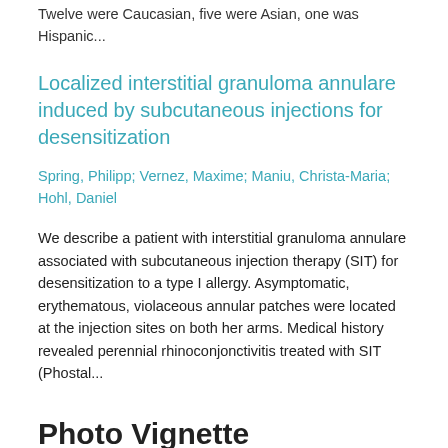Twelve were Caucasian, five were Asian, one was Hispanic...
Localized interstitial granuloma annulare induced by subcutaneous injections for desensitization
Spring, Philipp; Vernez, Maxime; Maniu, Christa-Maria; Hohl, Daniel
We describe a patient with interstitial granuloma annulare associated with subcutaneous injection therapy (SIT) for desensitization to a type I allergy. Asymptomatic, erythematous, violaceous annular patches were located at the injection sites on both her arms. Medical history revealed perennial rhinoconjonctivitis treated with SIT (Phostal...
Photo Vignette